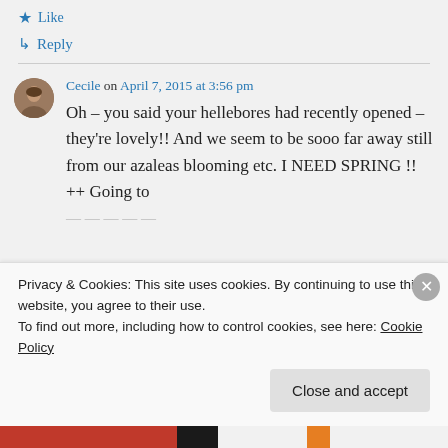★ Like
↳ Reply
Cecile on April 7, 2015 at 3:56 pm
Oh – you said your hellebores had recently opened – they're lovely!! And we seem to be sooo far away still from our azaleas blooming etc. I NEED SPRING !! ++ Going to
Privacy & Cookies: This site uses cookies. By continuing to use this website, you agree to their use.
To find out more, including how to control cookies, see here: Cookie Policy
Close and accept